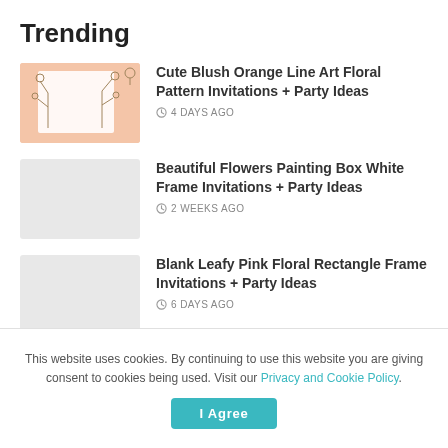Trending
Cute Blush Orange Line Art Floral Pattern Invitations + Party Ideas — 4 DAYS AGO
Beautiful Flowers Painting Box White Frame Invitations + Party Ideas — 2 WEEKS AGO
Blank Leafy Pink Floral Rectangle Frame Invitations + Party Ideas — 6 DAYS AGO
Realistic 2D Flower Bouquet Invitations + Party Ideas
This website uses cookies. By continuing to use this website you are giving consent to cookies being used. Visit our Privacy and Cookie Policy.